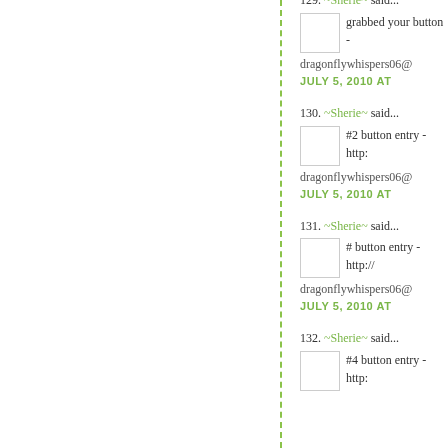129. ~Sherie~ said... grabbed your button - dragonflywhispers06@ JULY 5, 2010 AT
130. ~Sherie~ said... #2 button entry - http: dragonflywhispers06@ JULY 5, 2010 AT
131. ~Sherie~ said... # button entry - http:// dragonflywhispers06@ JULY 5, 2010 AT
132. ~Sherie~ said... #4 button entry - http: